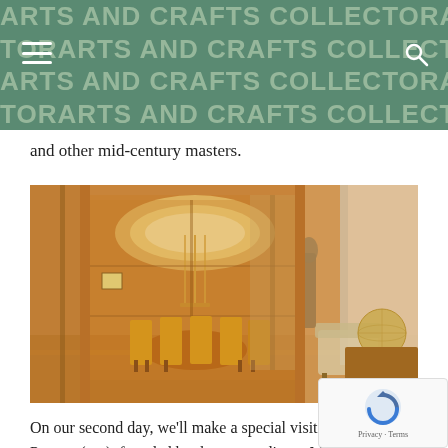ARTS AND CRAFTS COLLECTOR ARTS AND CRAFTS COLLECTOR
and other mid-century masters.
[Figure (photo): Interior room with warm wood paneling, round ceiling with recessed circular light fixture and pendant chandelier, dining table with tall chairs visible through open partition, armchair and globe in foreground right]
On our second day, we'll make a special visit to Pew... Pottery (top), founded by the extraordinary Mary Ch... Ro... Str... in 18... th... Michigan...